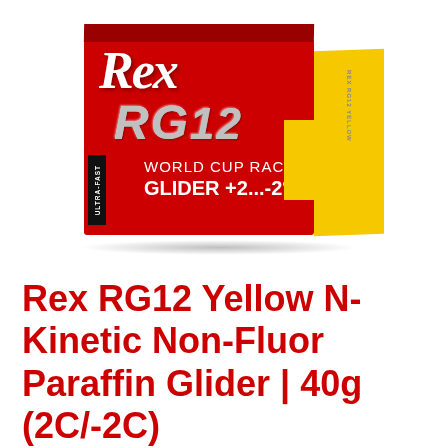[Figure (photo): Product photo of Rex RG12 Yellow ski wax box. Red box with silver holographic RG12 logo, white Rex script logo, and yellow side panel. Box reads: ULTRA-FAST, WORLD CUP RACING GLIDER +2...-2°C.]
Rex RG12 Yellow N-Kinetic Non-Fluor Paraffin Glider | 40g (2C/-2C)